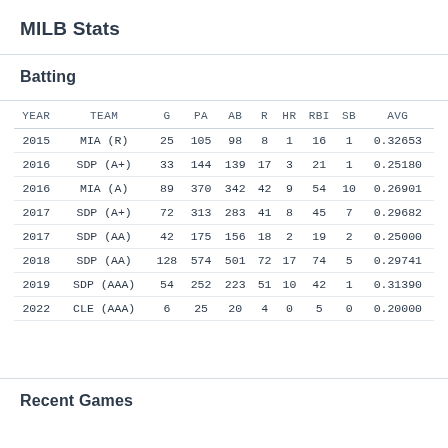MILB Stats
Batting
| YEAR | TEAM | G | PA | AB | R | HR | RBI | SB | AVG |
| --- | --- | --- | --- | --- | --- | --- | --- | --- | --- |
| 2015 | MIA (R) | 25 | 105 | 98 | 8 | 1 | 16 | 1 | 0.32653 |
| 2016 | SDP (A+) | 33 | 144 | 139 | 17 | 3 | 21 | 1 | 0.25180 |
| 2016 | MIA (A) | 89 | 370 | 342 | 42 | 9 | 54 | 10 | 0.26901 |
| 2017 | SDP (A+) | 72 | 313 | 283 | 41 | 8 | 45 | 7 | 0.29682 |
| 2017 | SDP (AA) | 42 | 175 | 156 | 18 | 2 | 19 | 2 | 0.25000 |
| 2018 | SDP (AA) | 128 | 574 | 501 | 72 | 17 | 74 | 5 | 0.29741 |
| 2019 | SDP (AAA) | 54 | 252 | 223 | 51 | 10 | 42 | 1 | 0.31390 |
| 2022 | CLE (AAA) | 6 | 25 | 20 | 4 | 0 | 5 | 0 | 0.20000 |
Recent Games